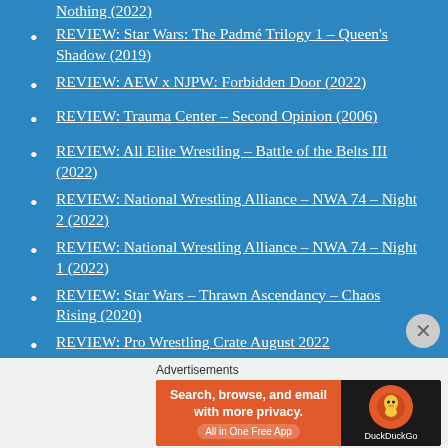Nothing (2022) [partial, top cropped]
REVIEW: Star Wars: The Padmé Trilogy 1 – Queen's Shadow (2019)
REVIEW: AEW x NJPW: Forbidden Door (2022)
REVIEW: Trauma Center – Second Opinion (2006)
REVIEW: All Elite Wrestling – Battle of the Belts III (2022)
REVIEW: National Wrestling Alliance – NWA 74 – Night 2 (2022)
REVIEW: National Wrestling Alliance – NWA 74 – Night 1 (2022)
REVIEW: Star Wars – Thrawn Ascendancy – Chaos Rising (2020)
REVIEW: Pro Wrestling Crate August 2022
Advertisements
[Figure (screenshot): DuckDuckGo advertisement banner: orange left side with text 'Search, browse, and email with more privacy. All in One Free App' and dark right side with DuckDuckGo logo]